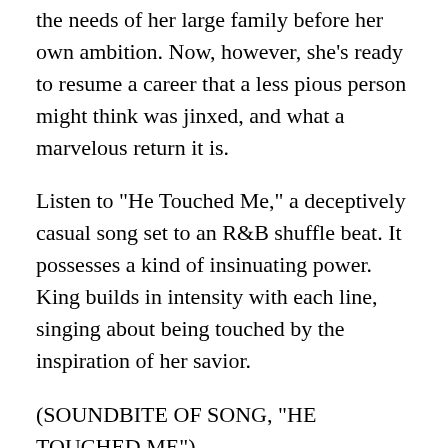the needs of her large family before her own ambition. Now, however, she's ready to resume a career that a less pious person might think was jinxed, and what a marvelous return it is.
Listen to "He Touched Me," a deceptively casual song set to an R&B shuffle beat. It possesses a kind of insinuating power. King builds in intensity with each line, singing about being touched by the inspiration of her savior.
(SOUNDBITE OF SONG, "HE TOUCHED ME")
KING: (Singing) Got a new way of walking since he touched me. Got a new way of walking since he touched me. Got a new way of walking since he touched me, since the Lord God almighty touched me. Got a brand-new talk since he touched me. Got a talk brand-new since he touched me. Got